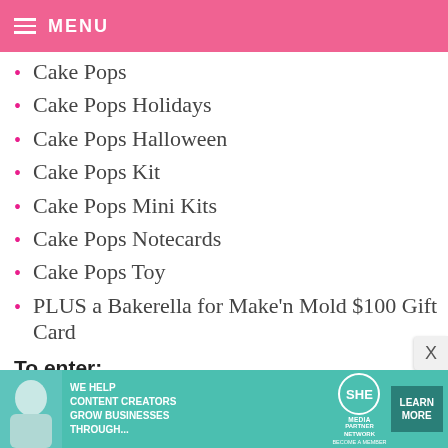MENU
Cake Pops
Cake Pops Holidays
Cake Pops Halloween
Cake Pops Kit
Cake Pops Mini Kits
Cake Pops Notecards
Cake Pops Toy
PLUS a Bakerella for Make'n Mold $100 Gift Card
To enter:
[Figure (screenshot): Advertisement banner for SHE Media Partner Network with text 'We help content creators grow businesses through...' and 'Learn More' button]